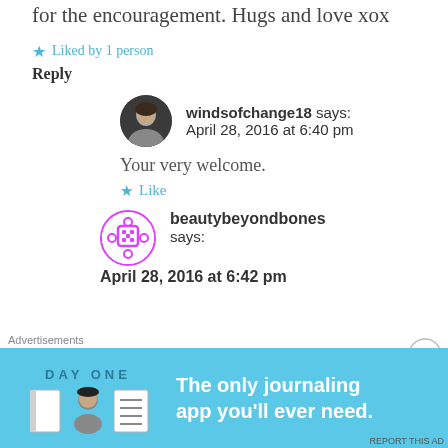for the encouragement. Hugs and love xox
Liked by 1 person
Reply
windsofchange18 says: April 28, 2016 at 6:40 pm
Your very welcome.
Like
beautybeyondbones says: April 28, 2016 at 6:42 pm
[Figure (illustration): Day One journaling app advertisement banner with cyan background, app icons, and text 'The only journaling app you'll ever need.']